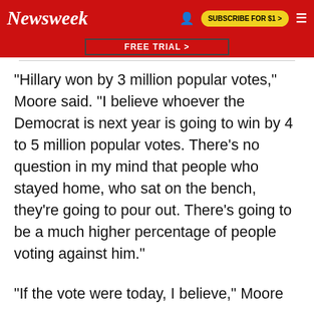Newsweek  SUBSCRIBE FOR $1 >
FREE TRIAL >
"Hillary won by 3 million popular votes," Moore said. "I believe whoever the Democrat is next year is going to win by 4 to 5 million popular votes. There's no question in my mind that people who stayed home, who sat on the bench, they're going to pour out. There's going to be a much higher percentage of people voting against him."
"If the vote were today, I believe," Moore